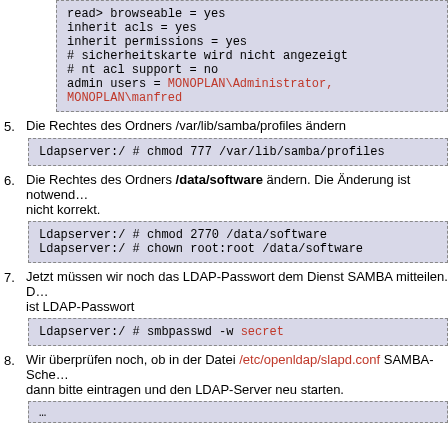read only = no
browseable = yes
inherit acls = yes
inherit permissions = yes
# sicherheitskarte wird nicht angezeigt
# nt acl support = no
admin users = MONOPLAN\Administrator, MONOPLAN\manfred
5. Die Rechtes des Ordners /var/lib/samba/profiles ändern
Ldapserver:/ # chmod 777 /var/lib/samba/profiles
6. Die Rechtes des Ordners /data/software ändern. Die Änderung ist notwendig ... nicht korrekt.
Ldapserver:/ # chmod 2770 /data/software
Ldapserver:/ # chown root:root /data/software
7. Jetzt müssen wir noch das LDAP-Passwort dem Dienst SAMBA mitteilen. D... ist LDAP-Passwort
Ldapserver:/ # smbpasswd -w secret
8. Wir überprüfen noch, ob in der Datei /etc/openldap/slapd.conf SAMBA-Sche... dann bitte eintragen und den LDAP-Server neu starten.